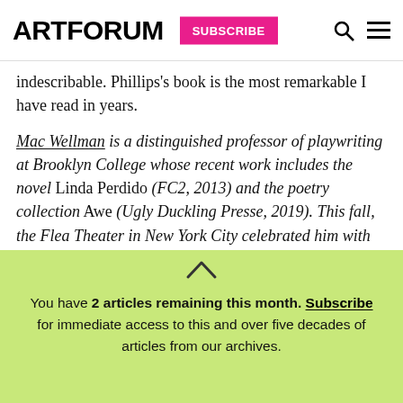ARTFORUM | SUBSCRIBE
indescribable. Phillips's book is the most remarkable I have read in years.
Mac Wellman is a distinguished professor of playwriting at Brooklyn College whose recent work includes the novel Linda Perdido (FC2, 2013) and the poetry collection Awe (Ugly Duckling Presse, 2019). This fall, the Flea Theater in New York City celebrated him with Perfect Catastrophes, a festival of his plays.
You have 2 articles remaining this month. Subscribe for immediate access to this and over five decades of articles from our archives.